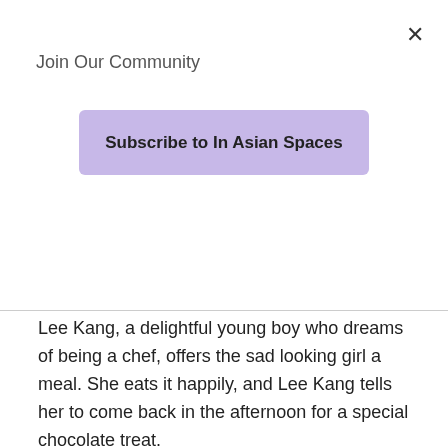Join Our Community
[Figure (other): Subscribe to In Asian Spaces button with purple/lavender background]
Lee Kang, a delightful young boy who dreams of being a chef, offers the sad looking girl a meal. She eats it happily, and Lee Kang tells her to come back in the afternoon for a special chocolate treat.
Spoiler alert: she never shows up.
Apparently, Moon Cha Young is competing in a pageant, or is intended to be an actress or something of the effect (the explanation given by the drama was very vague in itself) and is not allowed to eat